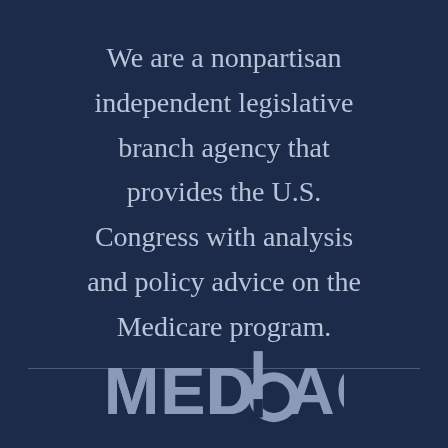We are a nonpartisan independent legislative branch agency that provides the U.S. Congress with analysis and policy advice on the Medicare program.
[Figure (logo): MedPAC logo in light gray on dark navy background]